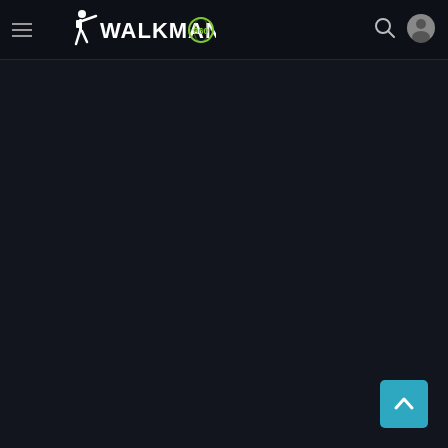[Figure (logo): Walkman 360 logo with white silhouette of a person walking and green 360 badge, white text WALKMAN]
[Figure (other): Navigation bar with hamburger menu, Walkman 360 logo, search icon, and user account icon on dark background]
[Figure (other): Teal/cyan back-to-top button with upward chevron arrow in bottom-right corner]